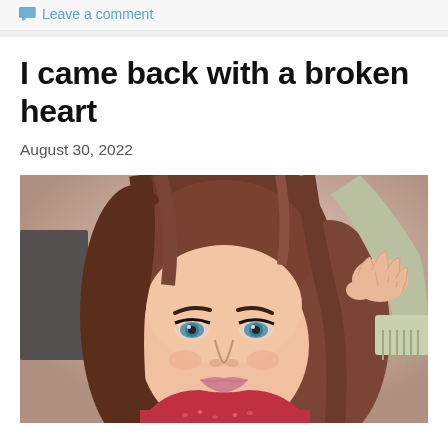Leave a comment
I came back with a broken heart
August 30, 2022
[Figure (photo): A woman with long brown hair, blue/green eyes, wearing a red top and a silver/beige fringed cuff bracelet, smiling at the camera with one hand raised touching her hair. Blurred indoor background.]